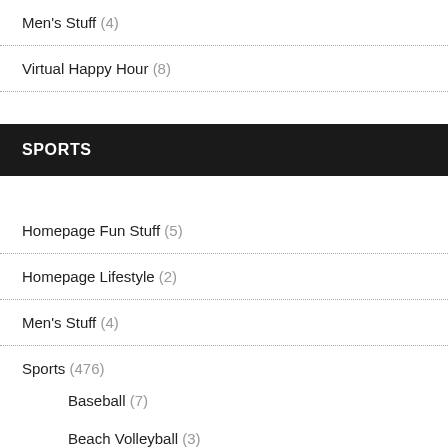Men's Stuff (4)
Virtual Happy Hour (8)
SPORTS
Homepage Fun Stuff (5)
Homepage Lifestyle (2)
Men's Stuff (4)
Sports (476)
Baseball (7)
Beach Volleyball (3)
College Football (271)
Golf (11)
NFL (44)
Olympics (10)